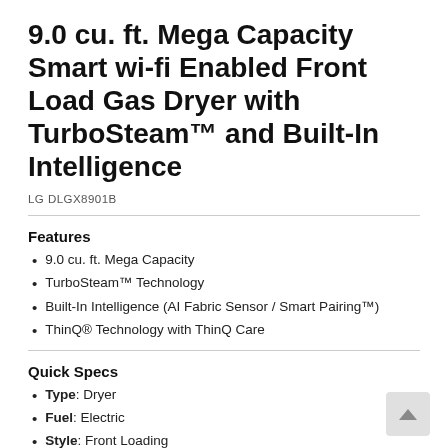9.0 cu. ft. Mega Capacity Smart wi-fi Enabled Front Load Gas Dryer with TurboSteam™ and Built-In Intelligence
LG DLGX8901B
Features
9.0 cu. ft. Mega Capacity
TurboSteam™ Technology
Built-In Intelligence (AI Fabric Sensor / Smart Pairing™)
ThinQ® Technology with ThinQ Care
Quick Specs
Type: Dryer
Fuel: Electric
Style: Front Loading